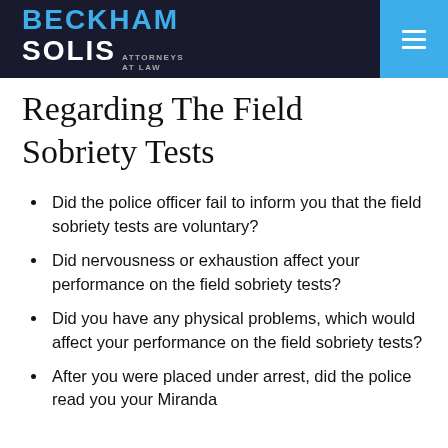BECKHAM SOLIS ATTORNEYS AT LAW
Regarding The Field Sobriety Tests
Did the police officer fail to inform you that the field sobriety tests are voluntary?
Did nervousness or exhaustion affect your performance on the field sobriety tests?
Did you have any physical problems, which would affect your performance on the field sobriety tests?
After you were placed under arrest, did the police read you your Miranda